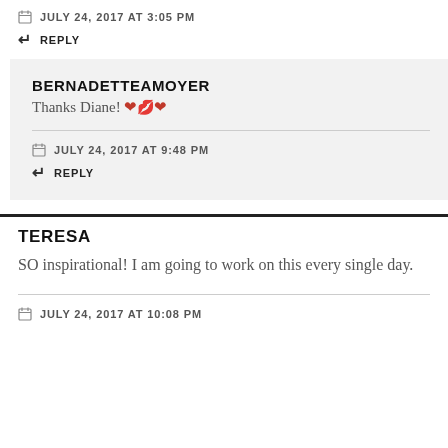JULY 24, 2017 AT 3:05 PM
REPLY
BERNADETTEAMOYER
Thanks Diane! ❤️💋❤️
JULY 24, 2017 AT 9:48 PM
REPLY
TERESA
SO inspirational! I am going to work on this every single day.
JULY 24, 2017 AT 10:08 PM